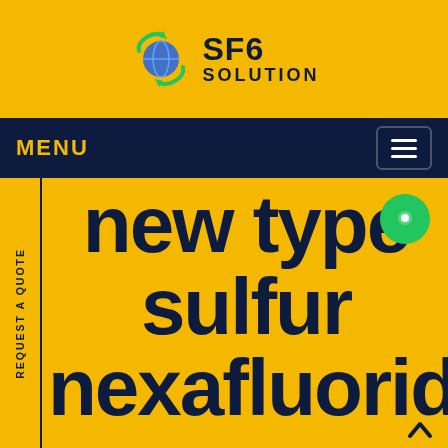[Figure (logo): SF6 Solution logo with green recycling arrow globe icon, bold SF6 text and SOLUTION subtitle]
MENU
[Figure (other): Hamburger menu icon button in top right of nav bar]
REQUEST A QUOTE
new type sulfur nexafluoride
[Figure (other): Green circular chat/contact button in top right of content area]
[Figure (other): Scroll to top arrow icon at bottom right]